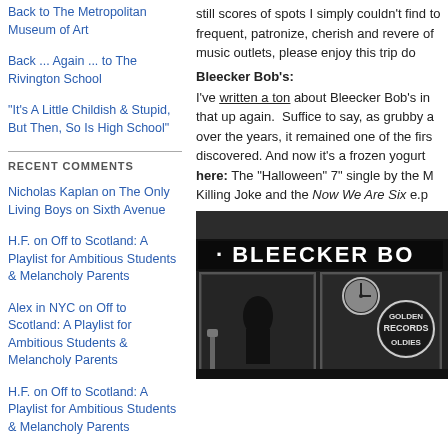Back to The Metropolitan Museum of Art
Back ... Again ... to The Rivington School
"It's A Little Childish & Stupid, But Then, So Is High School"
RECENT COMMENTS
Nicholas Kaplan on The Only Living Boys on Sixth Avenue
H.F. on Off to Scotland: A Playlist for Ambitious Students & Melancholy Parents
Alex in NYC on Off to Scotland: A Playlist for Ambitious Students & Melancholy Parents
H.F. on Off to Scotland: A Playlist for Ambitious Students & Melancholy Parents
Gregoire on Wolfman Flees Park: A Dr. Feelgood Mystery Update
Gregoire on Wolfman Flees Park: A Dr. Feelgood Mystery Update
still scores of spots I simply couldn't find to frequent, patronize, cherish and revere of music outlets, please enjoy this trip do
Bleecker Bob's:
I've written a ton about Bleecker Bob's in that up again. Suffice to say, as grubby a over the years, it remained one of the firs discovered. And now it's a frozen yogurt here: The "Halloween" 7" single by the M Killing Joke and the Now We Are Six e.p
[Figure (photo): Black and white photograph of Bleecker Bob's record store exterior showing the storefront sign reading 'BLEECKER BO' and a window sign for 'Golden Records Oldies']